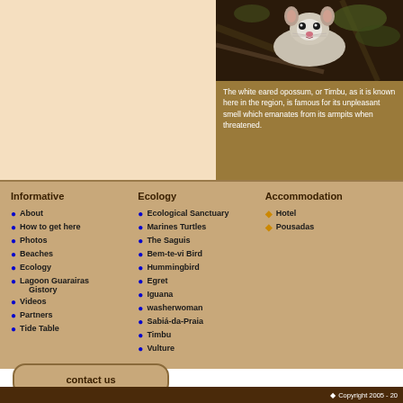[Figure (photo): Photo of a white eared opossum (Timbu) animal on branches]
The white eared opossum, or Timbu, as it is known here in the region, is famous for its unpleasant smell which emanates from its armpits when threatened.
Informative
About
How to get here
Photos
Beaches
Ecology
Lagoon Guarairas Gistory
Videos
Partners
Tide Table
Ecology
Ecological Sanctuary
Marines Turtles
The Saguis
Bem-te-vi Bird
Hummingbird
Egret
Iguana
washerwoman
Sabiá-da-Praia
Timbu
Vulture
Accommodation
Hotel
Pousadas
contact us
Copyright 2005 - 20...